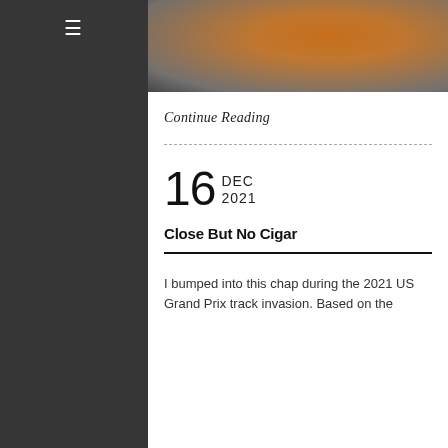[Figure (photo): Cropped photo of people at a racing event, showing someone in an orange shirt and another in a Red Bull racing shirt; crowd scene at the 2021 US Grand Prix.]
Continue Reading
16 DEC 2021
Close But No Cigar
I bumped into this chap during the 2021 US Grand Prix track invasion. Based on the